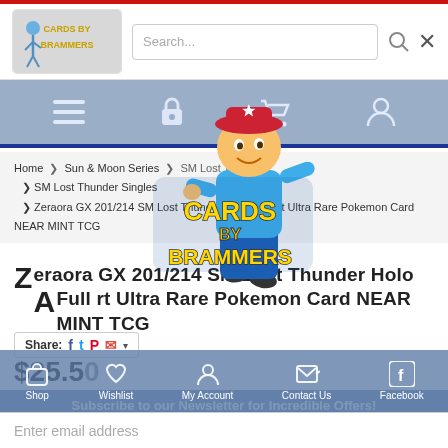[Figure (screenshot): Cards by Brammers logo with cartoon mascot character in the header]
Search... ×
[Figure (screenshot): Navigation bar with hamburger menu, lock icon, shopping cart, and user account icons on blue-grey background]
[Figure (logo): Cards by Brammers logo with mascot character overlaid on page]
Home > Sun & Moon Series > SM Lost Thunder > SM Lost Thunder Singles > Zeraora GX 201/214 SM Lost Thunder Holo Full Art Ultra Rare Pokemon Card NEAR MINT TCG
Zeraora GX 201/214 SM Lost Thunder Holo Full Art Ultra Rare Pokemon Card NEAR MINT TCG
Share: [Facebook] [Twitter] [Pinterest] [Email] ▾
$25.50
Subscribe to our Newsletter for Incredible Offers!
Enter email address
Shop   Wishlist   My Account   Contact Us   Facebook